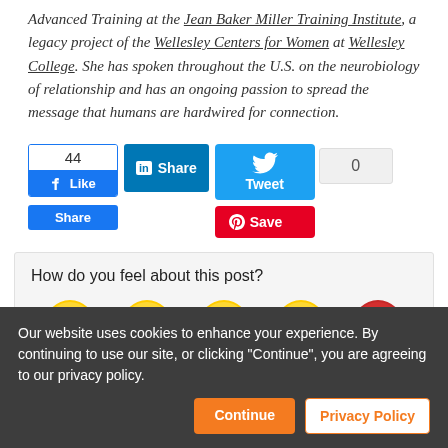Advanced Training at the Jean Baker Miller Training Institute, a legacy project of the Wellesley Centers for Women at Wellesley College. She has spoken throughout the U.S. on the neurobiology of relationship and has an ongoing passion to spread the message that humans are hardwired for connection.
[Figure (infographic): Social media sharing buttons: Facebook (44 likes, Like button, Share button), LinkedIn Share button, Twitter Tweet button with bird icon, count box showing 0, Pinterest Save button]
[Figure (infographic): Reaction widget: 'How do you feel about this post?' with 5 emoji faces: happy/grinning, heart-eyes, surprised/wow, sad/crying, and angry]
Our website uses cookies to enhance your experience. By continuing to use our site, or clicking "Continue", you are agreeing to our privacy policy.